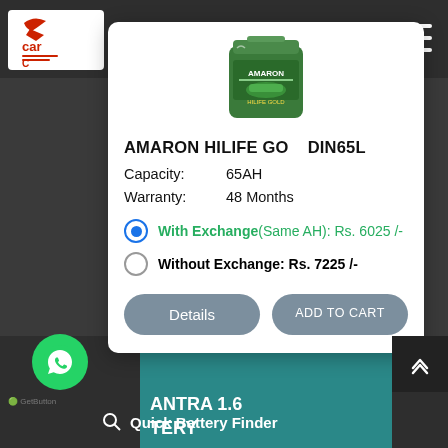[Figure (screenshot): Amaron HILIFE GO battery product card on a car battery e-commerce website. Shows green battery image, product title, capacity, warranty, pricing with exchange/without exchange options, and Details/Add to Cart buttons. Bottom shows WhatsApp chat button, Quick Battery Finder bar, and partial next product text.]
AMARON HILIFE GO   DIN65L
Capacity:    65AH
Warranty:   48 Months
With Exchange(Same AH): Rs. 6025 /-
Without Exchange: Rs. 7225 /-
Details   ADD TO CART
Quick Battery Finder
ANTRA 1.6 TERY